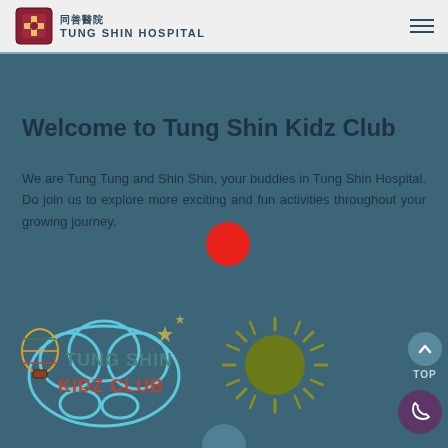同善醫院 TUNG SHIN HOSPITAL
Welcome to Tung Shin Kidz Club
We are Tung Tung and Shin Shin, your buddies in Tung Shin Hospital. Do join us to explore more exciting and fun activities throughout your growing journey.
[Figure (logo): Tung Shin Kidz Club logo with hot air balloon and cloud design]
[Figure (illustration): Cartoon sun illustration with rays]